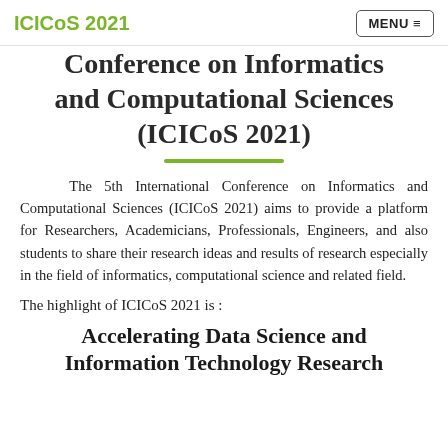ICICoS 2021   MENU ≡
Conference on Informatics and Computational Sciences (ICICoS 2021)
The 5th International Conference on Informatics and Computational Sciences (ICICoS 2021) aims to provide a platform for Researchers, Academicians, Professionals, Engineers, and also students to share their research ideas and results of research especially in the field of informatics, computational science and related field.
The highlight of ICICoS 2021 is :
Accelerating Data Science and Information Technology Research